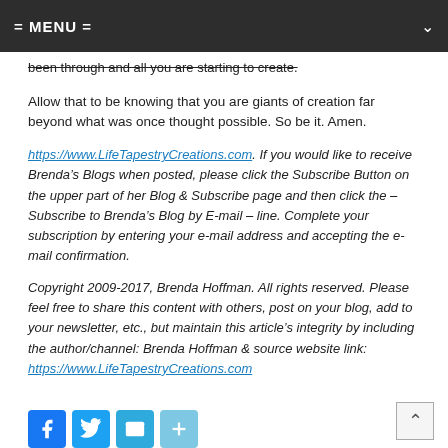= MENU =
been through and all you are starting to create.
Allow that to be knowing that you are giants of creation far beyond what was once thought possible. So be it. Amen.
https://www.LifeTapestryCreations.com. If you would like to receive Brenda’s Blogs when posted, please click the Subscribe Button on the upper part of her Blog & Subscribe page and then click the – Subscribe to Brenda’s Blog by E-mail – line. Complete your subscription by entering your e-mail address and accepting the e-mail confirmation.
Copyright 2009-2017, Brenda Hoffman. All rights reserved. Please feel free to share this content with others, post on your blog, add to your newsletter, etc., but maintain this article’s integrity by including the author/channel: Brenda Hoffman & source website link: https://www.LifeTapestryCreations.com
[Figure (other): Social sharing icons: Facebook, Twitter, Email, Share. Plus a back-to-top button.]